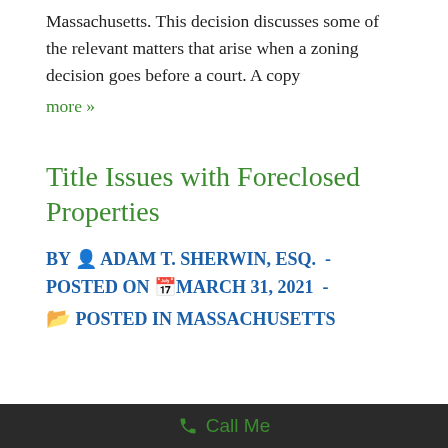Massachusetts. This decision discusses some of the relevant matters that arise when a zoning decision goes before a court. A copy
more »
Title Issues with Foreclosed Properties
BY  ADAM T. SHERWIN, ESQ.  -  POSTED ON  MARCH 31, 2021  -  POSTED IN MASSACHUSETTS
Call Me